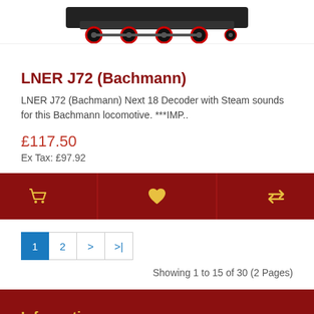[Figure (photo): Partial view of a model locomotive (LNER J72 by Bachmann) showing wheels and undercarriage]
LNER J72 (Bachmann)
LNER J72 (Bachmann) Next 18 Decoder with Steam sounds for this Bachmann locomotive. ***IMP..
£117.50
Ex Tax: £97.92
[Figure (infographic): Action buttons bar with shopping cart, heart (wishlist), and compare icons on dark red background]
Showing 1 to 15 of 30 (2 Pages)
Information
Email Me